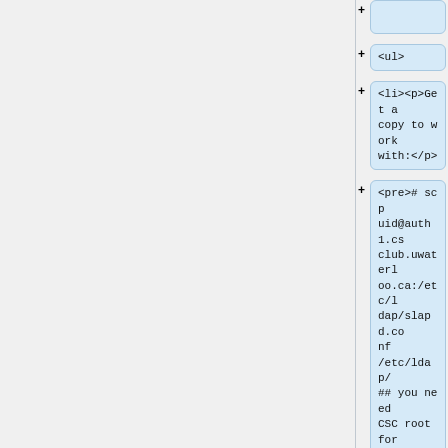[Figure (screenshot): Tree view of HTML/XML document structure showing nodes: an empty node at top, <ul>, <li><p>Get a copy to work with:</p>, <pre># scp uid@auth1.csclub.uwaterloo.ca:/etc/ldap/slapd.conf /etc/ldap/ ## you need CSC root for this</pre></li>, and <li>You'll want to comment out]
<ul>
<li><p>Get a copy to work with:</p>
<pre># scp uid@auth1.csclub.uwaterloo.ca:/etc/ldap/slapd.conf /etc/ldap/ ## you need CSC root for this</pre>
</li>
<li>You'll want to comment out